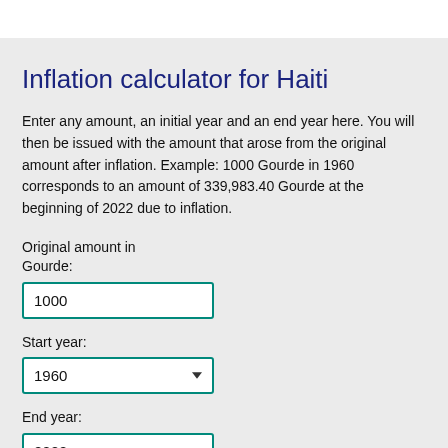Inflation calculator for Haiti
Enter any amount, an initial year and an end year here. You will then be issued with the amount that arose from the original amount after inflation. Example: 1000 Gourde in 1960 corresponds to an amount of 339,983.40 Gourde at the beginning of 2022 due to inflation.
Original amount in Gourde:
1000
Start year:
1960
End year:
2022